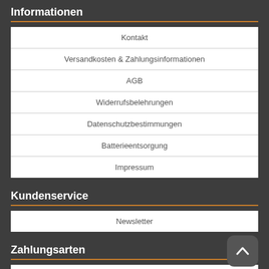Informationen
Kontakt
Versandkosten & Zahlungsinformationen
AGB
Widerrufsbelehrungen
Datenschutzbestimmungen
Batterieentsorgung
Impressum
Kundenservice
Newsletter
Zahlungsarten
» Weitere Informationen
[Figure (logo): PayPal, Klarna, Mastercard, VISA, SEPA payment logos]